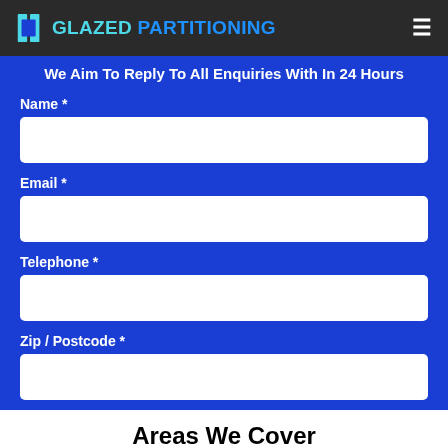GLAZED PARTITIONING
We Aim To Reply To All Enquiries With In 24 Hours
Name *
Email *
Telephone *
Zip / Postcode *
Areas We Cover